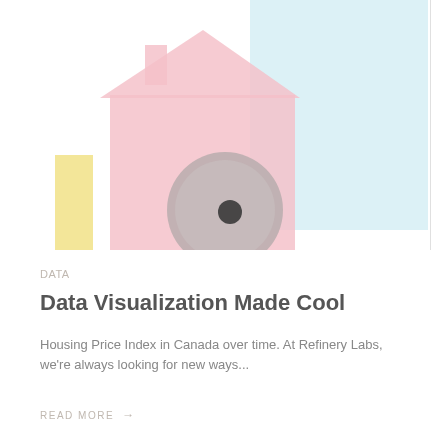[Figure (illustration): Decorative illustration showing house silhouettes in pink and light blue colors, with a small yellow shape on the left, and a circular play-button shaped icon in the center-bottom of the illustration area. A vertical dividing line appears on the right edge.]
Data
Data Visualization Made Cool
Housing Price Index in Canada over time. At Refinery Labs, we're always looking for new ways...
READ MORE →